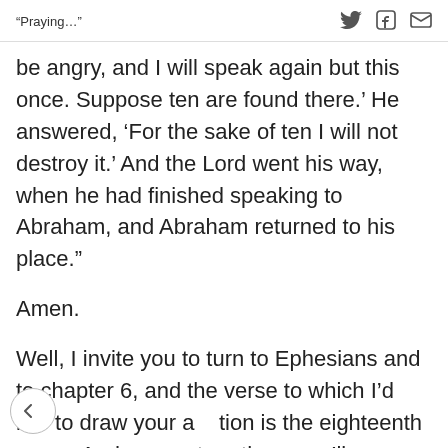“Praying…”
be angry, and I will speak again but this once. Suppose ten are found there.’ He answered, ‘For the sake of ten I will not destroy it.’ And the Lord went his way, when he had finished speaking to Abraham, and Abraham returned to his place.”
Amen.
Well, I invite you to turn to Ephesians and to chapter 6, and the verse to which I’d like to draw your attention is the eighteenth verse. And as you turn there, we’ll pray briefly: